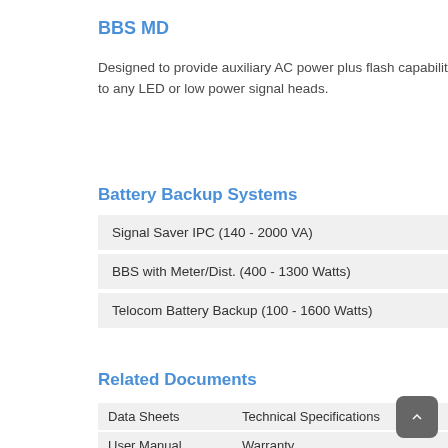BBS MD
Designed to provide auxiliary AC power plus flash capability to any LED or low power signal heads.
Battery Backup Systems
Signal Saver IPC (140 - 2000 VA)
BBS with Meter/Dist. (400 - 1300 Watts)
Telocom Battery Backup (100 - 1600 Watts)
Related Documents
| Data Sheets | Technical Specifications |
| --- | --- |
| User Manual | Warranty |